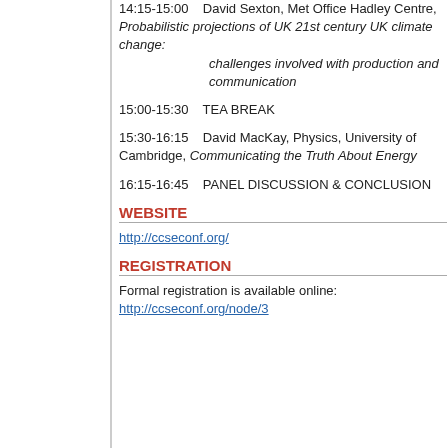14:15-15:00    David Sexton, Met Office Hadley Centre, Probabilistic projections of UK 21st century UK climate change: challenges involved with production and communication
15:00-15:30    TEA BREAK
15:30-16:15    David MacKay, Physics, University of Cambridge, Communicating the Truth About Energy
16:15-16:45    PANEL DISCUSSION & CONCLUSION
WEBSITE
http://ccseconf.org/
REGISTRATION
Formal registration is available online: http://ccseconf.org/node/3